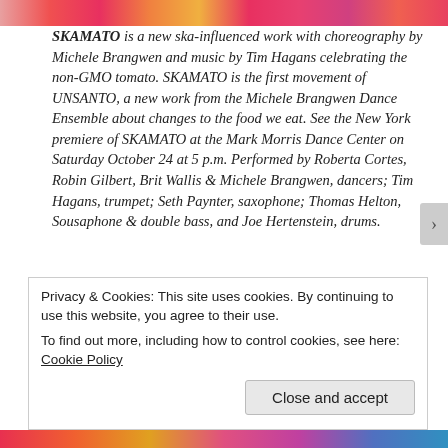[Figure (photo): Colorful photo strip showing performers in red, orange, and pink costumes at top of page]
SKAMATO is a new ska-influenced work with choreography by Michele Brangwen and music by Tim Hagans celebrating the non-GMO tomato. SKAMATO is the first movement of UNSANTO, a new work from the Michele Brangwen Dance Ensemble about changes to the food we eat. See the New York premiere of SKAMATO at the Mark Morris Dance Center on Saturday October 24 at 5 p.m. Performed by Roberta Cortes, Robin Gilbert, Brit Wallis & Michele Brangwen, dancers; Tim Hagans, trumpet; Seth Paynter, saxophone; Thomas Helton, Sousaphone & double bass, and Joe Hertenstein, drums.
I don't think it's strange or unwarranted when intelligent
Privacy & Cookies: This site uses cookies. By continuing to use this website, you agree to their use.
To find out more, including how to control cookies, see here: Cookie Policy